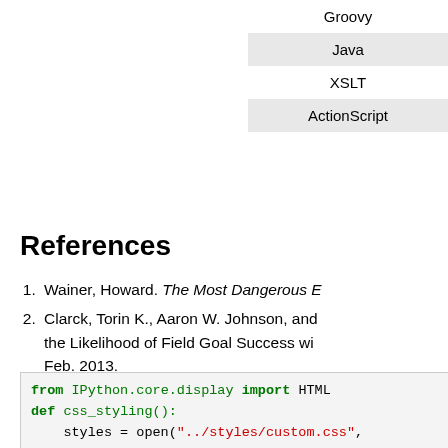| Groovy |
| Java |
| XSLT |
| ActionScript |
References
Wainer, Howard. The Most Dangerous E...
Clarck, Torin K., Aaron W. Johnson, and... the Likelihood of Field Goal Success wi... Feb. 2013.
http://en.wikipedia.org/wiki/Beta_functio...
[Figure (screenshot): Python code block showing: from IPython.core.display import HTML, def css_styling():, styles = open('../styles/custom.css',, return HTML(styles), css_styling()]